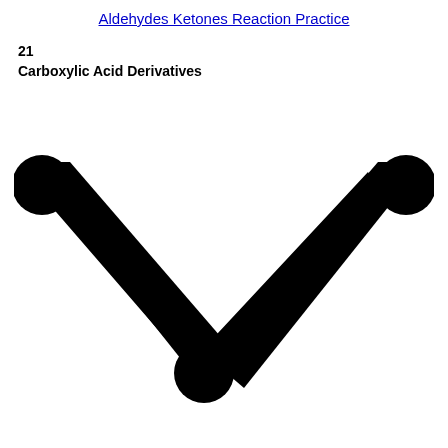Aldehydes Ketones Reaction Practice
21
Carboxylic Acid Derivatives
[Figure (illustration): A large black downward-pointing chevron (checkmark/arrow) shape with rounded ends, centered on the lower portion of the page.]